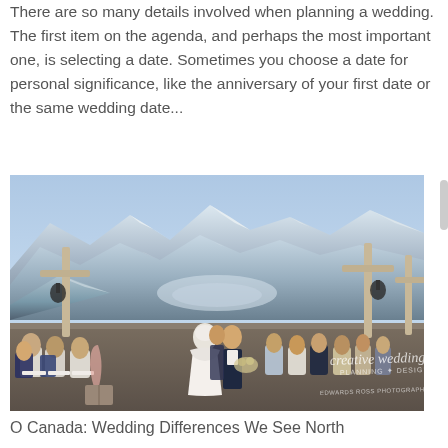There are so many details involved when planning a wedding. The first item on the agenda, and perhaps the most important one, is selecting a date. Sometimes you choose a date for personal significance, like the anniversary of your first date or the same wedding date...
[Figure (photo): Outdoor winter wedding ceremony at a mountain venue. A bride in a white dress and groom stand at the altar with snow-covered mountains in the background. Guests are seated in white chairs. Wooden cross-style structures frame the ceremony. A 'creative weddings' watermark is visible in the lower right corner.]
O Canada: Wedding Differences We See North